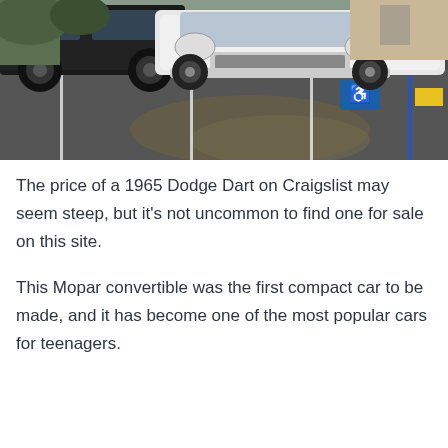[Figure (photo): A white 1965 Dodge Dart parked in a parking lot alongside a dark SUV. The parking lot has blue striped handicapped parking spaces visible.]
The price of a 1965 Dodge Dart on Craigslist may seem steep, but it's not uncommon to find one for sale on this site.
This Mopar convertible was the first compact car to be made, and it has become one of the most popular cars for teenagers.